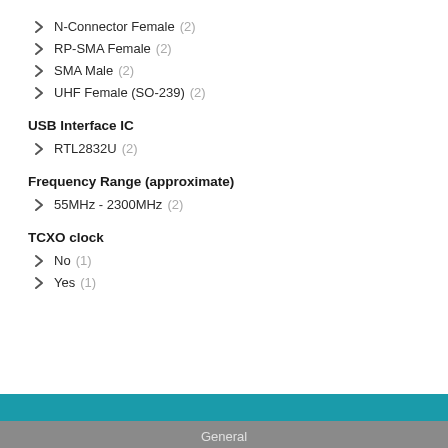N-Connector Female (2)
RP-SMA Female (2)
SMA Male (2)
UHF Female (SO-239) (2)
USB Interface IC
RTL2832U (2)
Frequency Range (approximate)
55MHz - 2300MHz (2)
TCXO clock
No (1)
Yes (1)
General